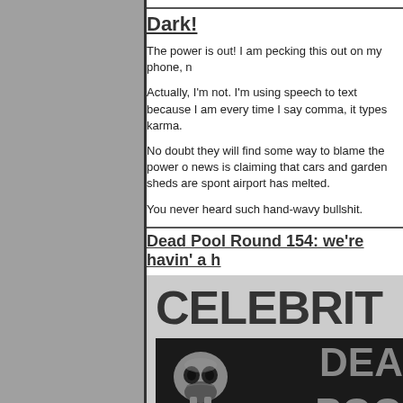Dark!
The power is out! I am pecking this out on my phone, n
Actually, I'm not. I'm using speech to text because I am every time I say comma, it types karma.
No doubt they will find some way to blame the power o news is claiming that cars and garden sheds are spont airport has melted.
You never heard such hand-wavy bullshit.
Dead Pool Round 154: we're havin' a h
[Figure (illustration): Celebrity Dead Pool book cover image with skull and text CELEBRITY DEAD POOL]